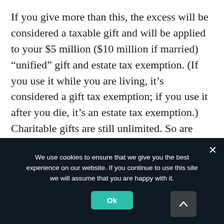If you give more than this, the excess will be considered a taxable gift and will be applied to your $5 million ($10 million if married) “unified” gift and estate tax exemption. (If you use it while you are living, it’s considered a gift tax exemption; if you use it after you die, it’s an estate tax exemption.) Charitable gifts are still unlimited. So are gifts for tuition and medical expenses if you give directly to the institution
We use cookies to ensure that we give you the best experience on our website. If you continue to use this site we will assume that you are happy with it.